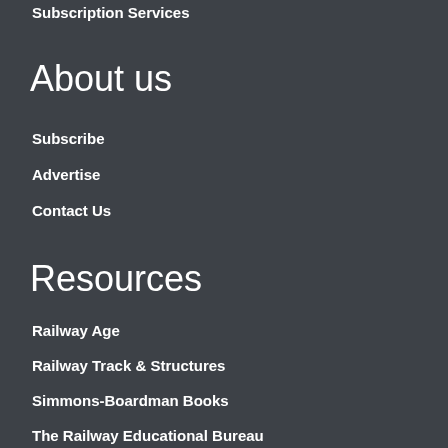Subscription Services
About us
Subscribe
Advertise
Contact Us
Resources
Railway Age
Railway Track & Structures
Simmons-Boardman Books
The Railway Educational Bureau